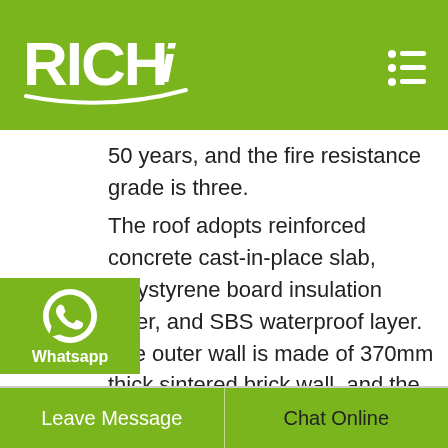RICHi
50 years, and the fire resistance grade is three.
The roof adopts reinforced concrete cast-in-place slab, polystyrene board insulation layer, and SBS waterproof layer. The outer wall is made of 370mm thick sintered brick wall, and the inner wall is made of 240mm thick sintered brick wall.
The inner and outer walls are plastered with cement mortar and painted with white paint; the floor is floor tiles, the door is made of aluminum alloy casement doors, and the windows are aluminum alloy windows. . Brick
[Figure (logo): WhatsApp contact button with phone icon and label]
Leave Message    Chat Online